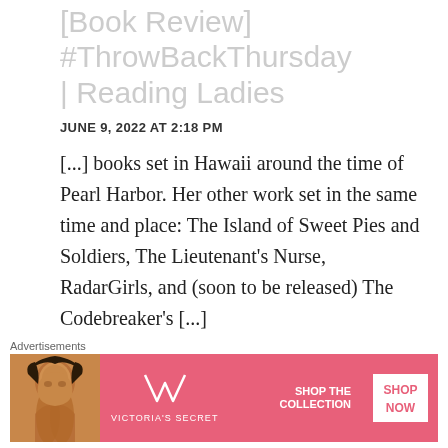[Book Review] #ThrowBackThursday | Reading Ladies
JUNE 9, 2022 AT 2:18 PM
[...] books set in Hawaii around the time of Pearl Harbor. Her other work set in the same time and place: The Island of Sweet Pies and Soldiers, The Lieutenant’s Nurse, RadarGirls, and (soon to be released) The Codebreaker’s [...]
Advertisements
[Figure (infographic): Victoria's Secret advertisement banner with a model photo on the left, VS logo and store name in the center, and a white 'SHOP NOW' button on the right with text 'SHOP THE COLLECTION']